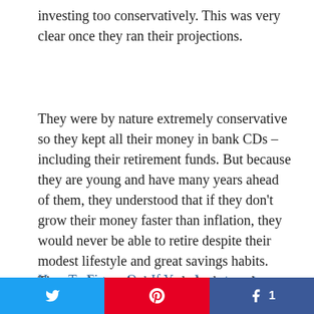investing too conservatively. This was very clear once they ran their projections.
They were by nature extremely conservative so they kept all their money in bank CDs – including their retirement funds. But because they are young and have many years ahead of them, they understood that if they don't grow their money faster than inflation, they would never be able to retire despite their modest lifestyle and great savings habits. The good news is they only had to make a minor shift in how they invested in order to achieve their goals.
How To Figure Out If Your Investments
[Figure (other): Social sharing bar with three buttons: Twitter (blue), Pinterest (red with pin icon), and Facebook (dark blue with share icon and count of 1)]